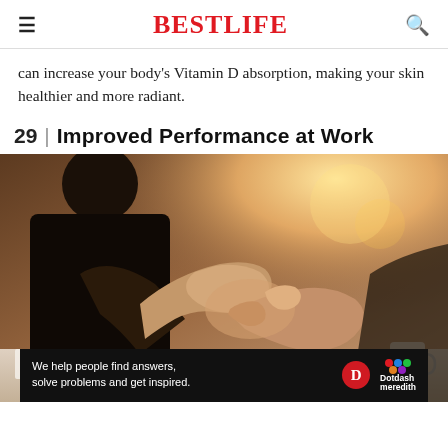BestLife
can increase your body’s Vitamin D absorption, making your skin healthier and more radiant.
29 | Improved Performance at Work
[Figure (photo): Two people shaking hands across a desk in a bright office setting, with warm sunlight in the background. A professional business handshake scene.]
We help people find answers, solve problems and get inspired. Dotdash meredith